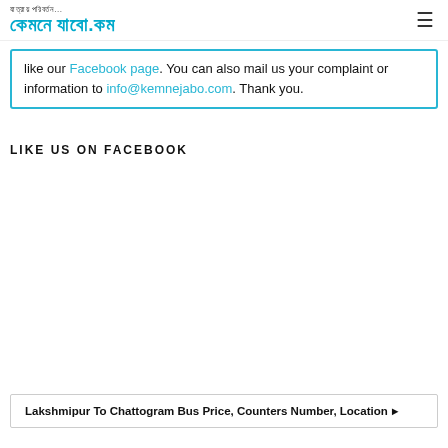যাত্রায় পরিবর্তন কেমনে যাবো.কম
like our Facebook page. You can also mail us your complaint or information to info@kemnejabo.com. Thank you.
LIKE US ON FACEBOOK
Lakshmipur To Chattogram Bus Price, Counters Number, Location